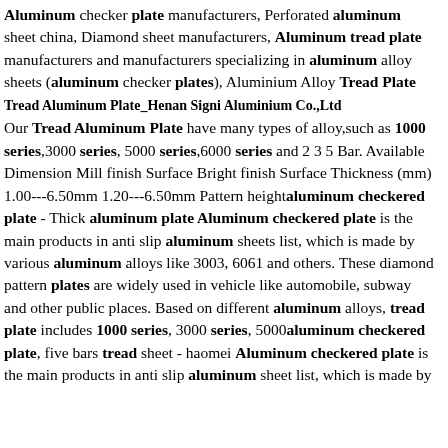Aluminum checker plate manufacturers, Perforated aluminum sheet china, Diamond sheet manufacturers, Aluminum tread plate manufacturers and manufacturers specializing in aluminum alloy sheets (aluminum checker plates), Aluminium Alloy Tread Plate
Tread Aluminum Plate_Henan Signi Aluminium Co.,Ltd
Our Tread Aluminum Plate have many types of alloy,such as 1000 series,3000 series, 5000 series,6000 series and 2 3 5 Bar. Available Dimension Mill finish Surface Bright finish Surface Thickness (mm) 1.00---6.50mm 1.20---6.50mm Pattern heightaluminum checkered plate - Thick aluminum plate Aluminum checkered plate is the main products in anti slip aluminum sheets list, which is made by various aluminum alloys like 3003, 6061 and others. These diamond pattern plates are widely used in vehicle like automobile, subway and other public places. Based on different aluminum alloys, tread plate includes 1000 series, 3000 series, 5000aluminum checkered plate, five bars tread sheet - haomei Aluminum checkered plate is the main products in anti slip aluminum sheet list, which is made by